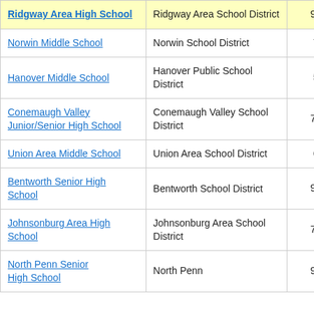| School | District | Grades | Score |
| --- | --- | --- | --- |
| Ridgway Area High School | Ridgway Area School District | 9-11 | 10.1 |
| Norwin Middle School | Norwin School District | 7-8 | -2.0 |
| Hanover Middle School | Hanover Public School District | 5-8 | -4.4 |
| Conemaugh Valley Junior/Senior High School | Conemaugh Valley School District | 7-12 | -2.9 |
| Union Area Middle School | Union Area School District | 6-8 | -6.2 |
| Bentworth Senior High School | Bentworth School District | 9-11 | -2.6 |
| Johnsonburg Area High School | Johnsonburg Area School District | 7-11 | -3.8 |
| North Penn Senior High School | North Penn School District | 9-11 | -2.2 |